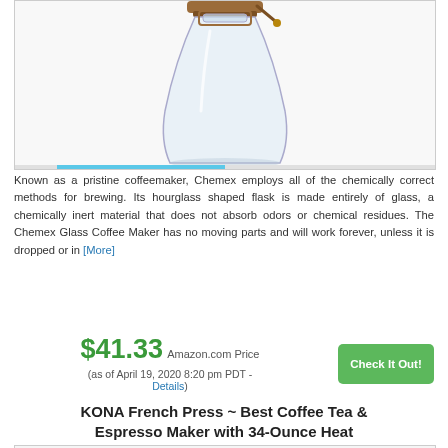[Figure (photo): Chemex glass coffeemaker with wooden collar and leather tie, partially cropped at top]
Known as a pristine coffeemaker, Chemex employs all of the chemically correct methods for brewing. Its hourglass shaped flask is made entirely of glass, a chemically inert material that does not absorb odors or chemical residues. The Chemex Glass Coffee Maker has no moving parts and will work forever, unless it is dropped or in [More]
$41.33 Amazon.com Price (as of April 19, 2020 8:20 pm PDT - Details)
Check It Out!
KONA French Press ~ Best Coffee Tea & Espresso Maker with 34-Ounce Heat
[Figure (photo): KONA French Press top portion showing dark lid with knob, partially cropped]